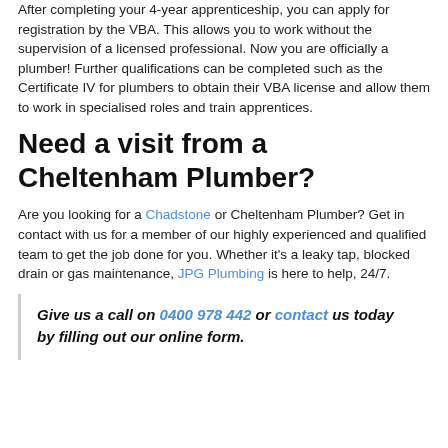After completing your 4-year apprenticeship, you can apply for registration by the VBA. This allows you to work without the supervision of a licensed professional. Now you are officially a plumber! Further qualifications can be completed such as the Certificate IV for plumbers to obtain their VBA license and allow them to work in specialised roles and train apprentices.
Need a visit from a Cheltenham Plumber?
Are you looking for a Chadstone or Cheltenham Plumber? Get in contact with us for a member of our highly experienced and qualified team to get the job done for you. Whether it's a leaky tap, blocked drain or gas maintenance, JPG Plumbing is here to help, 24/7.
Give us a call on 0400 978 442 or contact us today by filling out our online form.